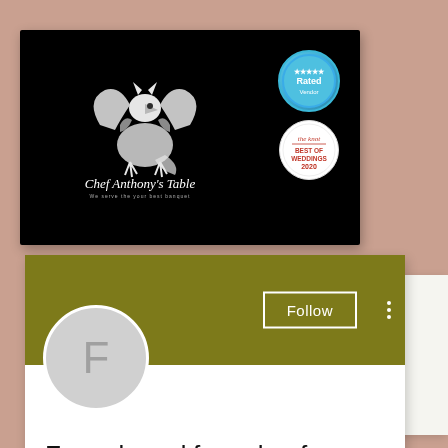[Figure (screenshot): Chef Anthony's Table business profile card with black background, white griffin logo, 'Rated' blue circular badge, and 'The Knot Best of Weddings 2020' circular badge]
[Figure (screenshot): Social media profile page showing olive/khaki banner, circular avatar with letter F, Follow button, three-dot menu, profile name 'Formal word for poker face', stats showing '0 Followers • 0 Following', blue FAB button with ellipsis, and chevron down arrow]